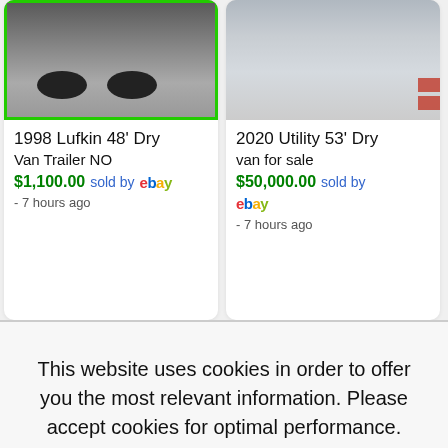[Figure (screenshot): Product listing card: 1998 Lufkin 48' Dry Van Trailer image showing rear of semi-trailer with green border, price $1,100.00 sold by eBay, 7 hours ago]
[Figure (screenshot): Product listing card: 2020 Utility 53' Dry van for sale image showing side of white trailer, price $50,000.00 sold by eBay, 7 hours ago]
[Figure (screenshot): Bottom left listing card with blue background (partially visible)]
[Figure (screenshot): Bottom right listing card showing dark roof/trailer (partially visible)]
This website uses cookies in order to offer you the most relevant information. Please accept cookies for optimal performance.
I Agree